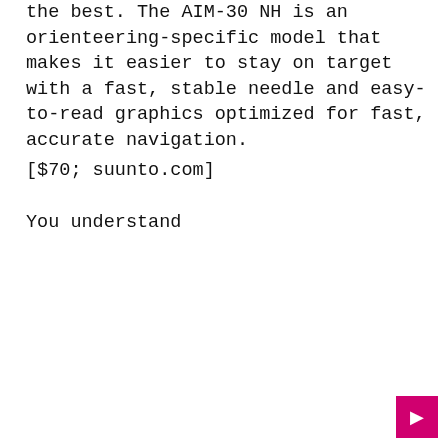the best. The AIM-30 NH is an orienteering-specific model that makes it easier to stay on target with a fast, stable needle and easy-to-read graphics optimized for fast, accurate navigation.
[$70; suunto.com]
You understand